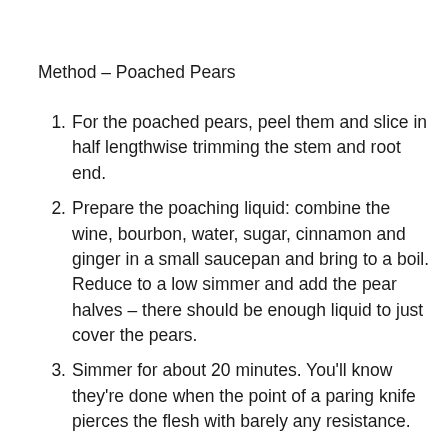Method – Poached Pears
For the poached pears, peel them and slice in half lengthwise trimming the stem and root end.
Prepare the poaching liquid: combine the wine, bourbon, water, sugar, cinnamon and ginger in a small saucepan and bring to a boil. Reduce to a low simmer and add the pear halves – there should be enough liquid to just cover the pears.
Simmer for about 20 minutes. You'll know they're done when the point of a paring knife pierces the flesh with barely any resistance.
Remove from the poaching liquid and set aside